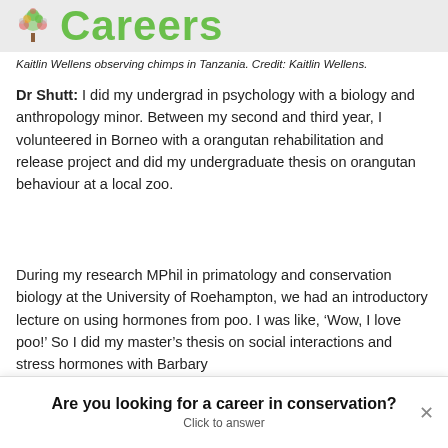Careers
Kaitlin Wellens observing chimps in Tanzania. Credit: Kaitlin Wellens.
Dr Shutt: I did my undergrad in psychology with a biology and anthropology minor. Between my second and third year, I volunteered in Borneo with a orangutan rehabilitation and release project and did my undergraduate thesis on orangutan behaviour at a local zoo.
During my research MPhil in primatology and conservation biology at the University of Roehampton, we had an introductory lecture on using hormones from poo. I was like, ‘Wow, I love poo!’ So I did my master’s thesis on social interactions and stress hormones with Barbary
Are you looking for a career in conservation?
Click to answer